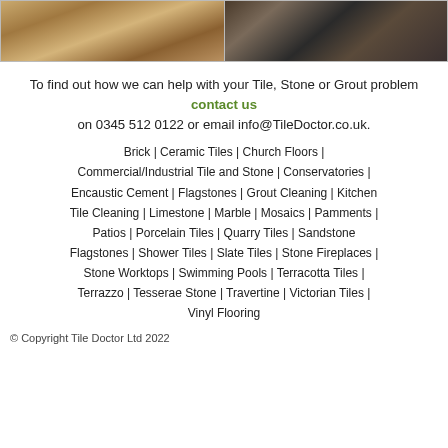[Figure (photo): Two side-by-side photos: left shows tile cleaning tools on wood floor, right shows a textured stone/tile surface.]
To find out how we can help with your Tile, Stone or Grout problem contact us on 0345 512 0122 or email info@TileDoctor.co.uk.
Brick | Ceramic Tiles | Church Floors | Commercial/Industrial Tile and Stone | Conservatories | Encaustic Cement | Flagstones | Grout Cleaning | Kitchen Tile Cleaning | Limestone | Marble | Mosaics | Pamments | Patios | Porcelain Tiles | Quarry Tiles | Sandstone Flagstones | Shower Tiles | Slate Tiles | Stone Fireplaces | Stone Worktops | Swimming Pools | Terracotta Tiles | Terrazzo | Tesserae Stone | Travertine | Victorian Tiles | Vinyl Flooring
© Copyright Tile Doctor Ltd 2022